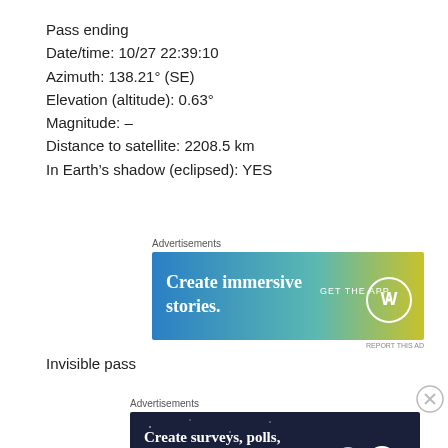Pass ending
Date/time: 10/27 22:39:10
Azimuth: 138.21° (SE)
Elevation (altitude): 0.63°
Magnitude: –
Distance to satellite: 2208.5 km
In Earth's shadow (eclipsed): YES
[Figure (photo): WordPress advertisement banner: 'Create immersive stories. GET THE APP' with WordPress logo, blue-to-yellow gradient background]
Invisible pass
[Figure (photo): WordPress advertisement banner: 'Create surveys, polls, quizzes, and forms.' with WordPress logo and Survey Owl icon on dark blue background with stars]